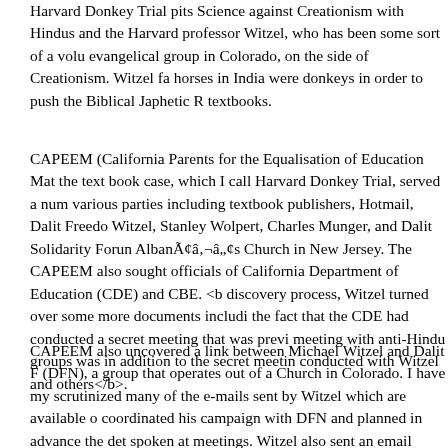Harvard Donkey Trial pits Science against Creationism with Hindus and the Harvard professor Witzel, who has been some sort of a volunteer to an evangelical group in Colorado, on the side of Creationism. Witzel falsely claimed horses in India were donkeys in order to push the Biblical Japhetic Race theory in textbooks.
CAPEEM (California Parents for the Equalisation of Education Materials) in the text book case, which I call Harvard Donkey Trial, served a number of various parties including textbook publishers, Hotmail, Dalit Freedom Network, Witzel, Stanley Wolpert, Charles Munger, and Dalit Solidarity Forum and St. AlbanÃ¢â¬â¢s Church in New Jersey. The CAPEEM also sought information from officials of California Department of Education (CDE) and CBE. <b>During the discovery process, Witzel turned over some more documents including revealing the fact that the CDE had conducted a secret meeting that was previously hidden; the meeting with anti-Hindu groups was in addition to the secret meeting that was conducted with Witzel and others</b>.
CAPEEM also uncovered a link between Michael Witzel and Dalit Freedom (DFN), a group that operates out of a Church in Colorado. I have myself scrutinized many of the e-mails sent by Witzel which are available on the web. He coordinated his campaign with DFN and planned in advance the details of who would spoken at meetings. Witzel also sent an email alerting DFN to the description of the organization on Wikipedia and stated that whenever he erased the description it kept coming back. An office bearer of DFN followed up on this email by saying they don’t want to Ã¢â¬Ëstart being identified as a missions organizationÃ¢ because if they could disguise themselves (Source: http://